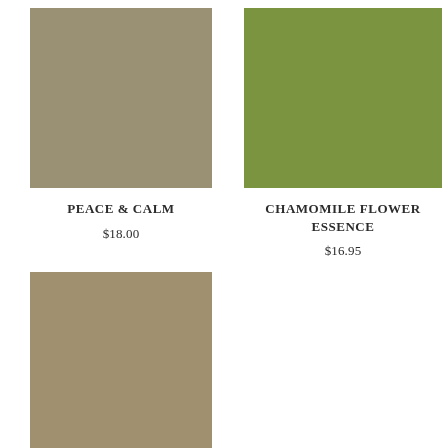[Figure (illustration): Color swatch rectangle in khaki/olive-grey tone for Peace & Calm product]
[Figure (illustration): Color swatch rectangle in medium olive green tone for Chamomile Flower Essence product]
PEACE & CALM
$18.00
CHAMOMILE FLOWER ESSENCE
$16.95
[Figure (illustration): Color swatch rectangle in warm taupe/tan tone, third product]